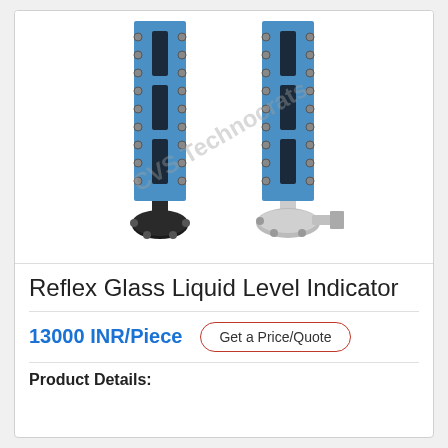[Figure (photo): Two blue reflex glass liquid level indicators with bolted flanges. Left unit has a black flange base, right unit has a stainless steel flange. Both are vertical with multiple bolts and glass slots. Watermark text 'CVS Technocrats' overlaid diagonally.]
Reflex Glass Liquid Level Indicator
13000 INR/Piece
Get a Price/Quote
Product Details: